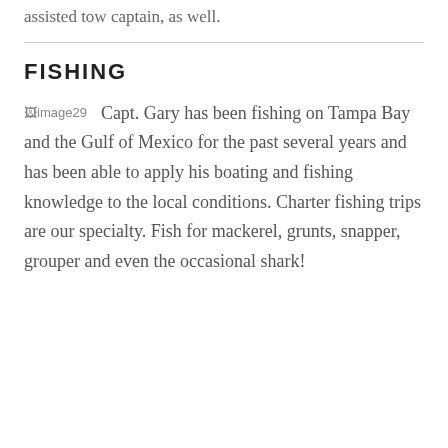assisted tow captain, as well.
FISHING
[Figure (photo): image29 - a photo placeholder labeled 'image29']
Capt. Gary has been fishing on Tampa Bay and the Gulf of Mexico for the past several years and has been able to apply his boating and fishing knowledge to the local conditions. Charter fishing trips are our specialty. Fish for mackerel, grunts, snapper, grouper and even the occasional shark!